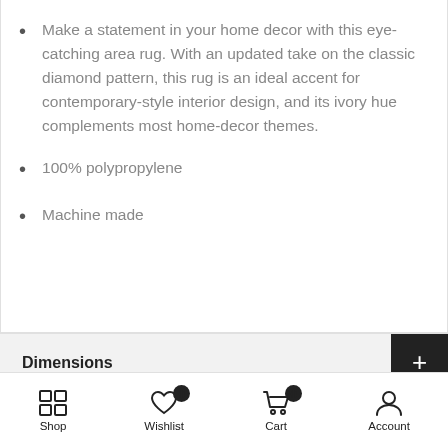Make a statement in your home decor with this eye-catching area rug. With an updated take on the classic diamond pattern, this rug is an ideal accent for contemporary-style interior design, and its ivory hue complements most home-decor themes.
100% polypropylene
Machine made
Dimensions
Additional Info.
Shop | Wishlist 0 | Cart 0 | Account